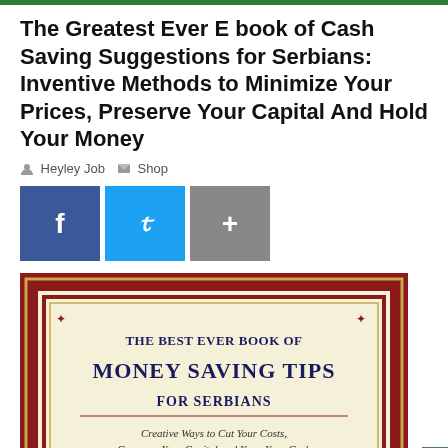The Greatest Ever E book of Cash Saving Suggestions for Serbians: Inventive Methods to Minimize Your Prices, Preserve Your Capital And Hold Your Money
Heyley Job   Shop
[Figure (illustration): Book cover for 'The Best Ever Book of Money Saving Tips for Serbians: Creative Ways to Cut Your Costs, Conserve Your Capital and Keep Your Cash'. Dark red background with gold border framing, cream inner panel. Title text in dark navy.]